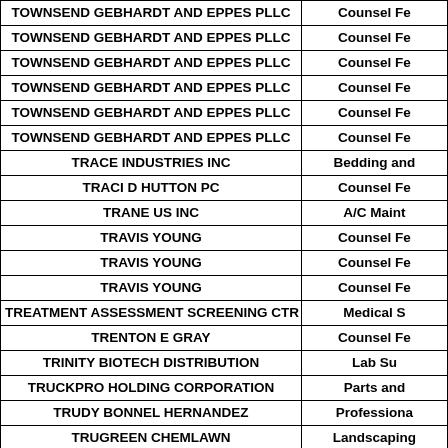| Vendor | Description |
| --- | --- |
| TOWNSEND GEBHARDT AND EPPES PLLC | Counsel Fe |
| TOWNSEND GEBHARDT AND EPPES PLLC | Counsel Fe |
| TOWNSEND GEBHARDT AND EPPES PLLC | Counsel Fe |
| TOWNSEND GEBHARDT AND EPPES PLLC | Counsel Fe |
| TOWNSEND GEBHARDT AND EPPES PLLC | Counsel Fe |
| TOWNSEND GEBHARDT AND EPPES PLLC | Counsel Fe |
| TRACE INDUSTRIES INC | Bedding and |
| TRACI D HUTTON PC | Counsel Fe |
| TRANE US INC | A/C Maint |
| TRAVIS YOUNG | Counsel Fe |
| TRAVIS YOUNG | Counsel Fe |
| TRAVIS YOUNG | Counsel Fe |
| TREATMENT ASSESSMENT SCREENING CTR | Medical S |
| TRENTON E GRAY | Counsel Fe |
| TRINITY BIOTECH DISTRIBUTION | Lab Su |
| TRUCKPRO HOLDING CORPORATION | Parts and |
| TRUDY BONNEL HERNANDEZ | Professiona |
| TRUGREEN CHEMLAWN | Landscaping |
| TRUGREEN CHEMLAWN | Landscaping |
| TRUGREEN CHEMLAWN | Landscaping |
| TRUGREEN CHEMLAWN | Landscaping |
| TRUGREEN CHEMLAWN | Landscaping |